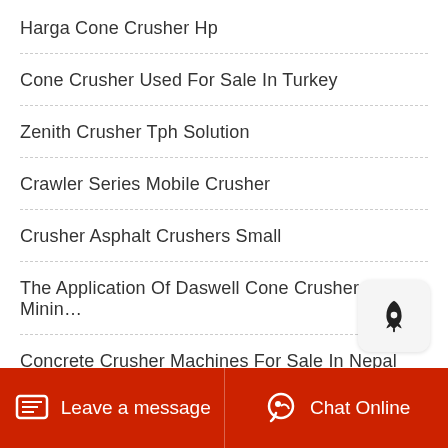Harga Cone Crusher Hp
Cone Crusher Used For Sale In Turkey
Zenith Crusher Tph Solution
Crawler Series Mobile Crusher
Crusher Asphalt Crushers Small
The Application Of Daswell Cone Crusher In Minin…
Concrete Crusher Machines For Sale In Nepal
Gold Ore Crushers For Sale
[Figure (illustration): Rocket icon button (scroll-to-top or quick action button) with rounded rectangle background]
Leave a message | Chat Online